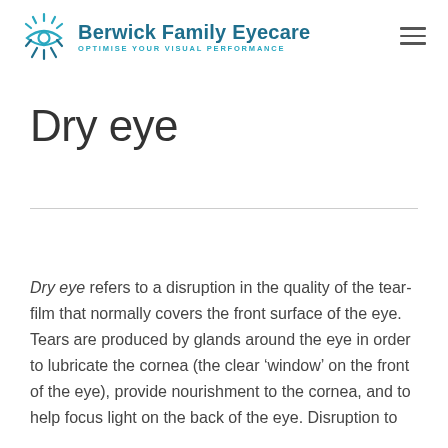Berwick Family Eyecare — OPTIMISE YOUR VISUAL PERFORMANCE
Dry eye
Dry eye refers to a disruption in the quality of the tear-film that normally covers the front surface of the eye. Tears are produced by glands around the eye in order to lubricate the cornea (the clear ‘window’ on the front of the eye), provide nourishment to the cornea, and to help focus light on the back of the eye. Disruption to